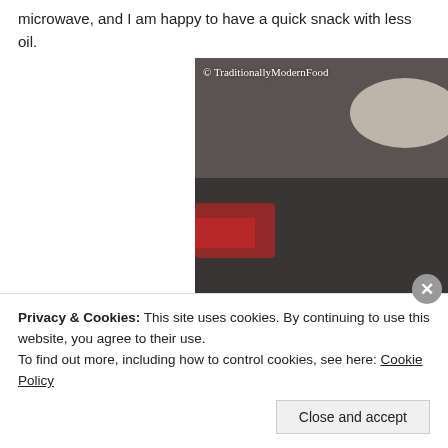microwave, and I am happy to have a quick snack with less oil.
[Figure (photo): A stack of thin round white crackers or flatbreads with black seeds on top, arranged on a dark round plate/pan. The background is blurred and dark. Watermark reads: © TraditionallyModernFood]
Privacy & Cookies: This site uses cookies. By continuing to use this website, you agree to their use.
To find out more, including how to control cookies, see here: Cookie Policy
Close and accept